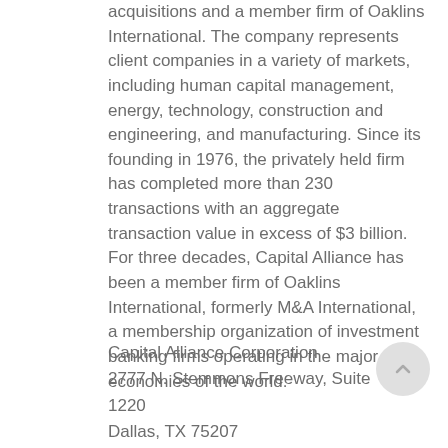acquisitions and a member firm of Oaklins International. The company represents client companies in a variety of markets, including human capital management, energy, technology, construction and engineering, and manufacturing. Since its founding in 1976, the privately held firm has completed more than 230 transactions with an aggregate transaction value in excess of $3 billion. For three decades, Capital Alliance has been a member firm of Oaklins International, formerly M&A International, a membership organization of investment banking firms operating in the major economies of the world.
Capital Alliance Corporation
2777 N. Stemmons Freeway, Suite 1220
Dallas, TX 75207
(214) 638-8280